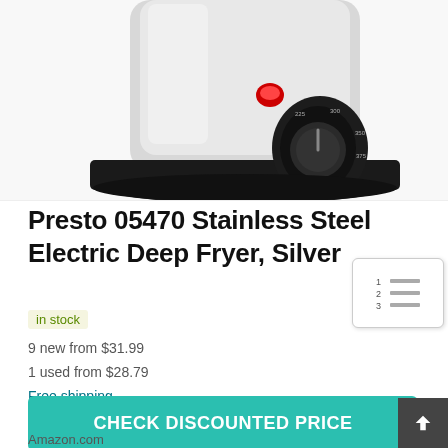[Figure (photo): Close-up photo of a Presto stainless steel electric deep fryer showing the base with a temperature control dial and red indicator light on a silver/black appliance body.]
Presto 05470 Stainless Steel Electric Deep Fryer, Silver
in stock
9 new from $31.99
1 used from $28.79
Free shipping
CHECK DISCOUNTED PRICE
Amazon.com